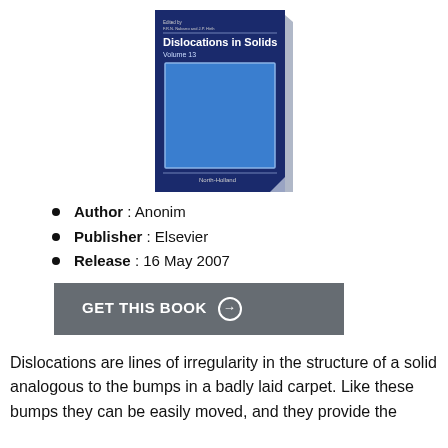[Figure (illustration): Book cover of 'Dislocations in Solids, Volume 13' published by North-Holland. Dark navy blue cover with white text title and a light blue rectangle in the center. Editors listed at top.]
Author : Anonim
Publisher : Elsevier
Release : 16 May 2007
GET THIS BOOK →
Dislocations are lines of irregularity in the structure of a solid analogous to the bumps in a badly laid carpet. Like these bumps they can be easily moved, and they provide the